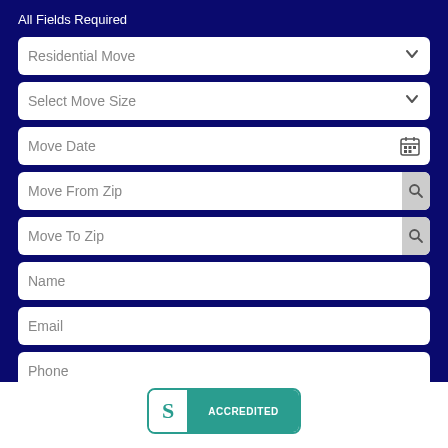All Fields Required
Residential Move (dropdown)
Select Move Size (dropdown)
Move Date (date picker)
Move From Zip (search field)
Move To Zip (search field)
Name (text field)
Email (text field)
Phone (text field)
GET STARTED NOW
[Figure (logo): BBB Accredited Business badge with teal border, S logo on left, ACCREDITED text on right in teal background]